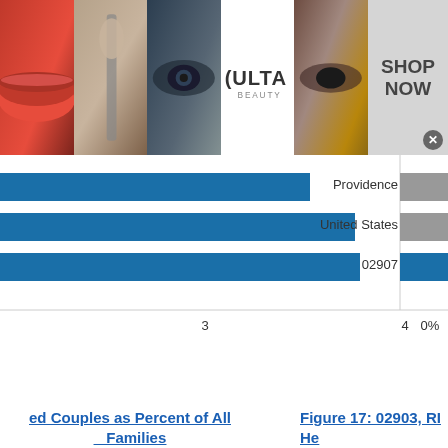[Figure (photo): Ulta Beauty advertisement banner with cosmetics imagery (lips, makeup brush, eye makeup, Ulta logo, eye closeup) and 'SHOP NOW' button]
[Figure (bar-chart): Horizontal bar chart showing data for 02907, Providence, United States with x-axis values around 3-4 and 0%]
Married Couples as Percent of All Families
Figure 17: 02903, RI He
[Figure (bar-chart): Horizontal bar chart showing data for 02903, 02907, 02906 zip codes]
[Figure (photo): Visit Premium Outlets - Leesburg Premium Outlets advertisement banner]